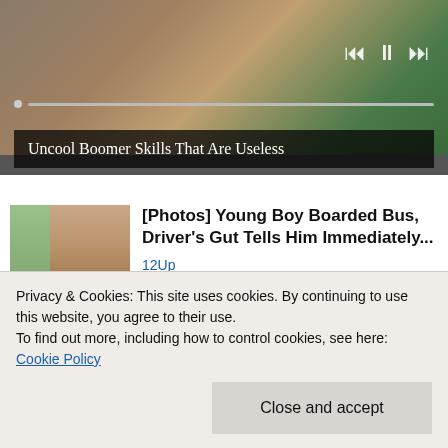[Figure (screenshot): Video player showing people at a table with hands visible, with playback controls (skip back, pause, skip forward) in top right and a progress bar below. Partially visible.]
Uncool Boomer Skills That Are Useless
[Figure (photo): Thumbnail photo of a young Black man's face (mugshot style) next to a small image of a bus interior]
[Photos] Young Boy Boarded Bus, Driver's Gut Tells Him Immediately...
12Up
[Figure (photo): Partially visible thumbnail with blue tones]
Almost Nobody Has
Privacy & Cookies: This site uses cookies. By continuing to use this website, you agree to their use.
To find out more, including how to control cookies, see here: Cookie Policy
Close and accept